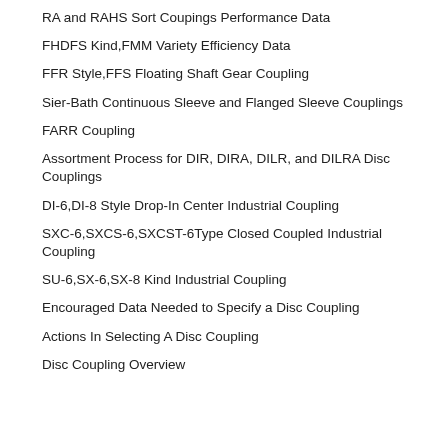RA and RAHS Sort Coupings Performance Data
FHDFS Kind,FMM Variety Efficiency Data
FFR Style,FFS Floating Shaft Gear Coupling
Sier-Bath Continuous Sleeve and Flanged Sleeve Couplings
FARR Coupling
Assortment Process for DIR, DIRA, DILR, and DILRA Disc Couplings
DI-6,DI-8 Style Drop-In Center Industrial Coupling
SXC-6,SXCS-6,SXCST-6Type Closed Coupled Industrial Coupling
SU-6,SX-6,SX-8 Kind Industrial Coupling
Encouraged Data Needed to Specify a Disc Coupling
Actions In Selecting A Disc Coupling
Disc Coupling Overview